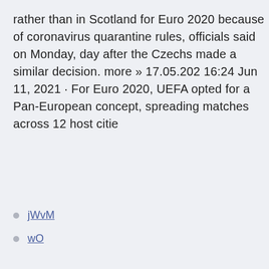rather than in Scotland for Euro 2020 because of coronavirus quarantine rules, officials said on Monday, day after the Czechs made a similar decision. more » 17.05.202 16:24 Jun 11, 2021 · For Euro 2020, UEFA opted for a Pan-European concept, spreading matches across 12 host citie
jWvM
wO